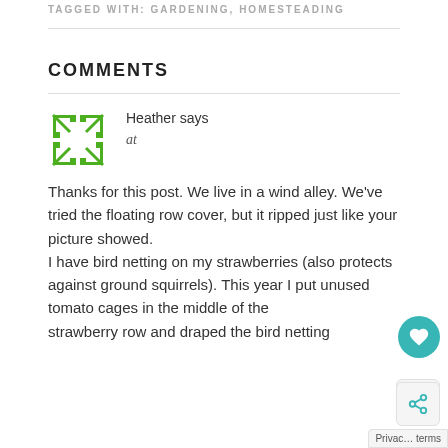TAGGED WITH: GARDENING, HOMESTEADING
COMMENTS
[Figure (logo): Green starburst/pinwheel avatar icon for user Heather]
Heather says
at
Thanks for this post. We live in a wind alley. We've tried the floating row cover, but it ripped just like your picture showed. I have bird netting on my strawberries (also protects against ground squirrels). This year I put unused tomato cages in the middle of the strawberry row and draped the bird netting